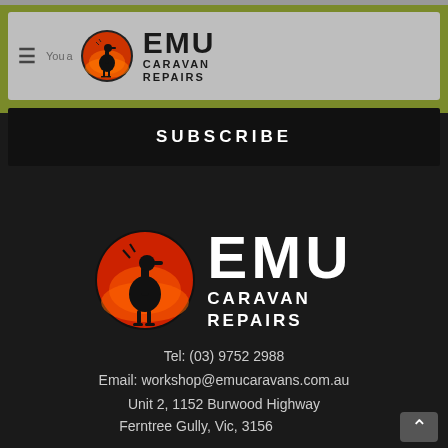[Figure (logo): EMU Caravan Repairs logo in header navigation bar with hamburger menu and YouTube text]
SUBSCRIBE
[Figure (logo): Large EMU Caravan Repairs logo with emu bird silhouette on orange/red sunset circle]
Tel: (03) 9752 2988
Email: workshop@emucaravans.com.au
Unit 2, 1152 Burwood Highway
Ferntree Gully, Vic, 3156